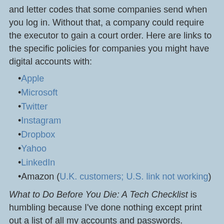and letter codes that some companies send when you log in. Without that, a company could require the executor to gain a court order. Here are links to the specific policies for companies you might have digital accounts with:
Apple
Microsoft
Twitter
Instagram
Dropbox
Yahoo
LinkedIn
Amazon (U.K. customers; U.S. link not working)
What to Do Before You Die: A Tech Checklist is humbling because I've done nothing except print out a list of all my accounts and passwords. Meanwhile the hard-core are making sure that their avatars are not interred with their bones: [bold added]
James Vlahos, co-founder of HereAfter.AI.... creates voicebots so loved ones can, via an